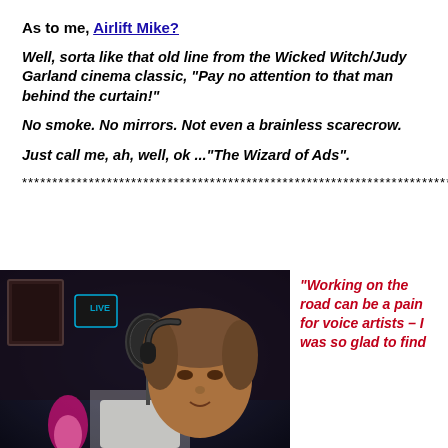As to me, Airlift Mike?
Well, sorta like that old line from the Wicked Witch/Judy Garland cinema classic, “Pay no attention to that man behind the curtain!”
No smoke. No mirrors. Not even a brainless scarecrow.
Just call me, ah, well, ok ...“The Wizard of Ads”.
***********************************************************************
[Figure (photo): A man wearing headphones sitting in front of a microphone in a dimly lit recording studio with colorful lights in the background.]
“Working on the road can be a pain for voice artists – I was so glad to find